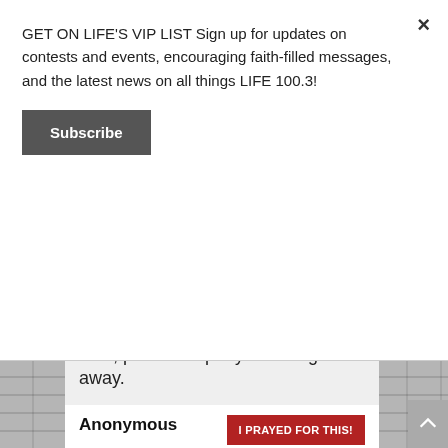GET ON LIFE'S VIP LIST Sign up for updates on contests and events, encouraging faith-filled messages, and the latest news on all things LIFE 100.3!
Subscribe
God, please help my scar to go away.
Prayed for 11 times.
Posted on May 12th, 2020
Anonymous
I PRAYED FOR THIS!
Prayed for 11 times.
Hello! I just found out recently that my aunt has cancer. Please pray for God to reveal himself